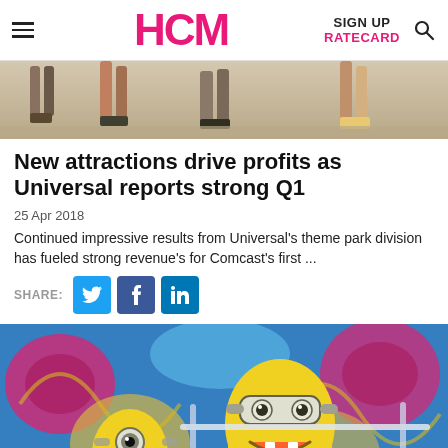HCM | SIGN UP | RATECARD
[Figure (photo): Outdoor scene showing people's feet and legs walking on a paved surface, cropped at the bottom of a photo]
New attractions drive profits as Universal reports strong Q1
25 Apr 2018
Continued impressive results from Universal's theme park division has fueled strong revenue's for Comcast's first ...
SHARE: [Twitter] [Facebook] [LinkedIn]
[Figure (photo): Photo of Minion characters (from Despicable Me) in front of a colorful graffiti-style mural with blue, pink, yellow colors]